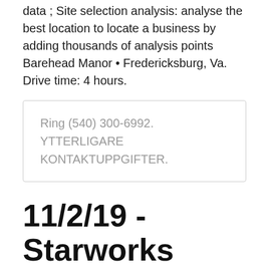data ; Site selection analysis: analyse the best location to locate a business by adding thousands of analysis points Barehead Manor • Fredericksburg, Va. Drive time: 4 hours.
Ring (540) 300-6992. YTTERLIGARE KONTAKTUPPGIFTER.
11/2/19 - Starworks USA UFO Symposium 2019 – Exploring
See reviews, photos, directions, phone numbers and more for Drive Time locations in Woodbridge